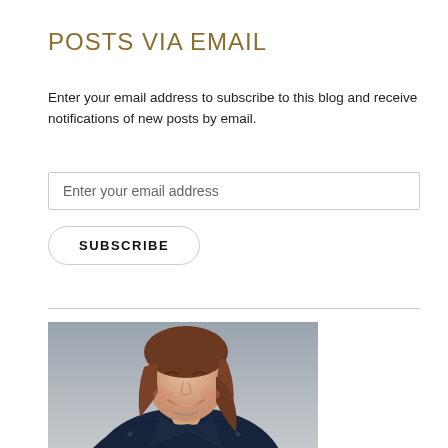POSTS VIA EMAIL
Enter your email address to subscribe to this blog and receive notifications of new posts by email.
[Figure (other): Email input field with placeholder text 'Enter your email address']
[Figure (other): Subscribe button with rounded border and bold uppercase text 'SUBSCRIBE']
[Figure (photo): Photograph of a smiling woman with brown hair wearing a dark navy jacket, leaning forward slightly, with a blurred grey background]